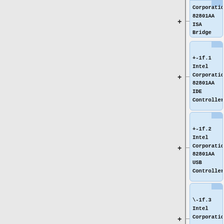[Figure (flowchart): Tree diagram showing PCI device hierarchy. Partial view showing nodes: Intel Corporation 82801AA ISA Bridge (LPC), +-1f.1 Intel Corporation 82801AA IDE Controller, +-1f.2 Intel Corporation 82801AA USB Controller, \-1f.3 Intel Corporation (cut off)]